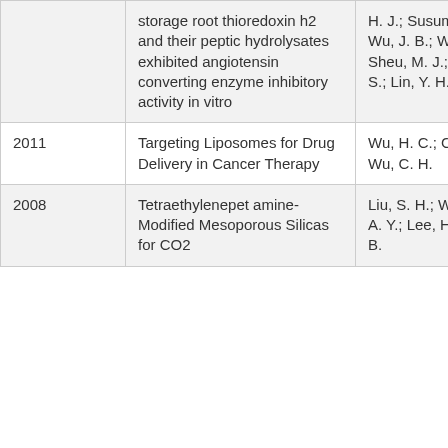| Year | Title | Authors |
| --- | --- | --- |
|  | storage root thioredoxin h2 and their peptic hydrolysates exhibited angiotensin converting enzyme inhibitory activity in vitro | H. J.; Susumu, K.; Wu, J. B.; Wu, C.; Sheu, M. J.; Hua; S. S.; Lin, Y. H. |
| 2011 | Targeting Liposomes for Drug Delivery in Cancer Therapy | Wu, H. C.; Chi, Y.; Wu, C. H. |
| 2008 | Tetraethylenepetamine-Modified Mesoporous Silicas for CO2 | Liu, S. H.; Wu, C.; Lo, A. Y.; Lee, H.; Liu, S. B. |